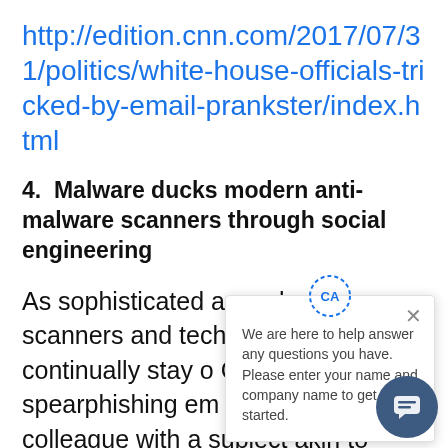http://edition.cnn.com/2017/07/31/politics/white-house-officials-tricked-by-email-prankster/index.html
4.  Malware ducks modern anti-malware scanners through social engineering
As sophisticated as malware scanners and technologies continually stay o German agencies spearphishing em come from a colleague with a subject akin to “Check this out” with instructio to look into an obscure word or phr When the phrase is Googled the search